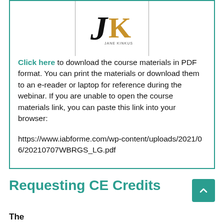[Figure (logo): JK (Jane Kinkus or similar) logo with stylized J and gold K letterform with small text underneath]
Click here to download the course materials in PDF format. You can print the materials or download them to an e-reader or laptop for reference during the webinar. If you are unable to open the course materials link, you can paste this link into your browser:

https://www.iabforme.com/wp-content/uploads/2021/06/20210707WBRGS_LG.pdf
Requesting CE Credits
The Acme device assistant...